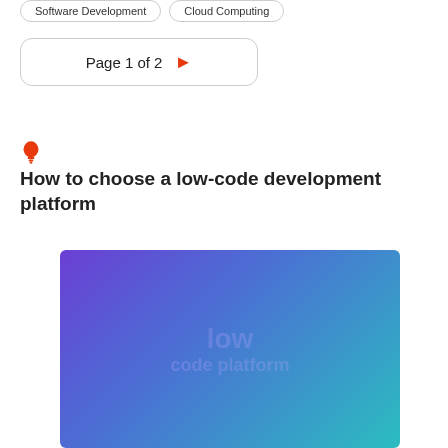Software Development   Cloud Computing
Page 1 of 2
How to choose a low-code development platform
[Figure (illustration): Gradient banner image transitioning from purple on the left to teal on the right, with faint overlay text]